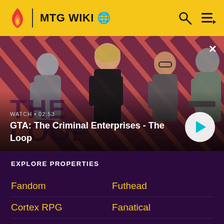MTG WIKI
[Figure (screenshot): GTA: The Criminal Enterprises - The Loop video thumbnail with four video game characters on a red diagonal stripe background. Shows WATCH • 02:53 label and a play button.]
GTA: The Criminal Enterprises - The Loop
EXPLORE PROPERTIES
Fandom
Futhead
Cortex RPG
Fanatical
Muthead